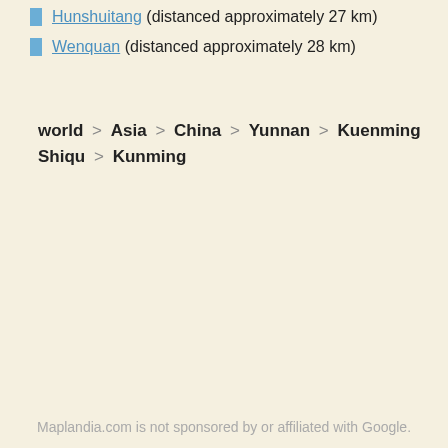Hunshuitang (distanced approximately 27 km)
Wenquan (distanced approximately 28 km)
world > Asia > China > Yunnan > Kuenming Shiqu > Kunming
Maplandia.com is not sponsored by or affiliated with Google.